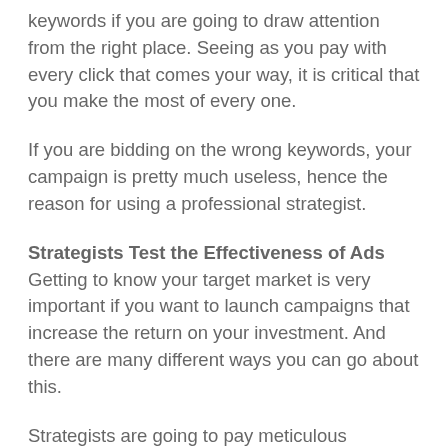keywords if you are going to draw attention from the right place. Seeing as you pay with every click that comes your way, it is critical that you make the most of every one.
If you are bidding on the wrong keywords, your campaign is pretty much useless, hence the reason for using a professional strategist.
Strategists Test the Effectiveness of Ads
Getting to know your target market is very important if you want to launch campaigns that increase the return on your investment. And there are many different ways you can go about this.
Strategists are going to pay meticulous attention to the performance of every ad. And when they notice it is not working, they tweak and change it until it brings in the clicks. More importantly, they study the habits and choices of the target market. From there,